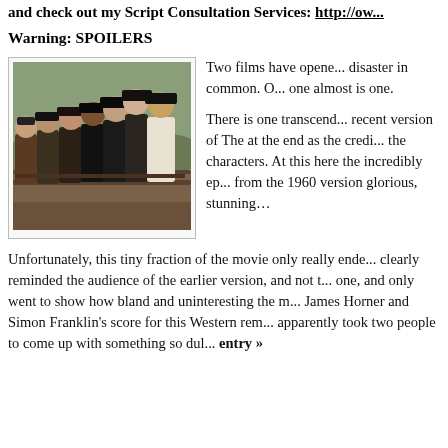and check out my Script Consultation Services: http://ow...
Warning: SPOILERS
[Figure (photo): A group of seven cowboys in black hats leaning on a fence, from The Magnificent Seven]
Two films have opened... disaster in common. One almost is one.

There is one transcend... recent version of The at the end as the credi... the characters. At this here the incredibly ep... from the 1960 version glorious, stunning…
Unfortunately, this tiny fraction of the movie only really ende... clearly reminded the audience of the earlier version, and not t... one, and only went to show how bland and uninteresting the m... James Horner and Simon Franklin's score for this Western rem... apparently took two people to come up with something so dul... entry »